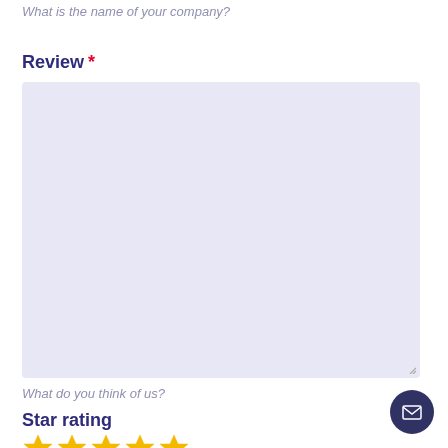What is the name of your company?
Review *
[Figure (other): Empty text area input field with light purple/lavender background, with resize handle in bottom-right corner]
What do you think of us?
Star rating
[Figure (other): Five star rating icons in gold/yellow color, partially visible at bottom of page]
[Figure (other): Dark navy circular button with email/envelope icon in bottom right corner]